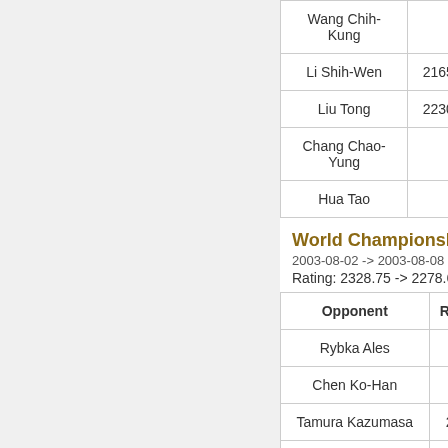| Opponent | Rating | Round | Result |
| --- | --- | --- | --- |
| Wang Chih-Kung |  | 5 | los... |
| Li Shih-Wen | 2165 | 6 | wi... |
| Liu Tong | 2230 | 7 | wi... |
| Chang Chao-Yung |  | 8 | los... |
| Hua Tao |  | 9 | wi... |
World Championship BT
2003-08-02 -> 2003-08-08
Rating: 2328.75 -> 2278.6
| Opponent | Rating | Round |
| --- | --- | --- |
| Rybka Ales |  | 1 |
| Chen Ko-Han |  | 2 |
| Tamura Kazumasa | 2144 | 3 |
| Chen Wei | 2271 | 4 |
| Lents Johann | 2231 | 5 |
| Ilu Timo | 2246 | 6 |